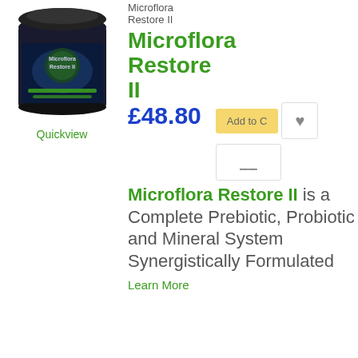[Figure (photo): Black jar of Microflora Restore II supplement product with green label and white text on a white background]
Quickview
Microflora
Restore II
Microflora Restore II
£48.80
Microflora Restore II is a Complete Prebiotic, Probiotic and Mineral System Synergistically Formulated
Learn More